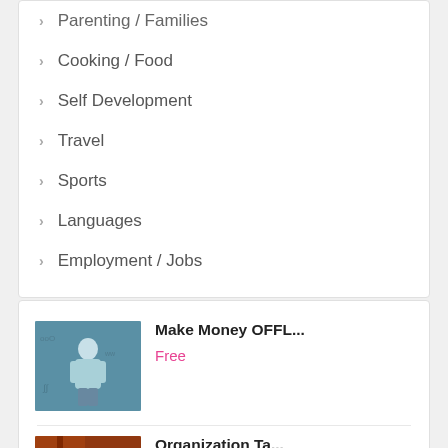Parenting / Families
Cooking / Food
Self Development
Travel
Sports
Languages
Employment / Jobs
[Figure (photo): Young man in light blue t-shirt standing in front of graffiti wall]
Make Money OFFL...
Free
[Figure (photo): Woman standing near an orange train or vehicle door]
Organization Ta...
Free